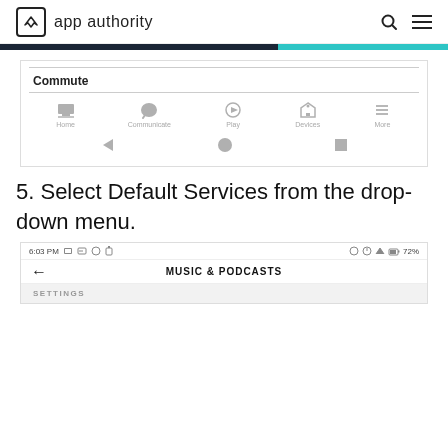app authority
[Figure (screenshot): Android app navigation bar showing Commute screen with Home, Communicate, Play, Devices, More icons and back/home/recent buttons]
5. Select Default Services from the drop-down menu.
[Figure (screenshot): Android phone screenshot showing MUSIC & PODCASTS screen with status bar showing 6:03 PM and 72% battery, and SETTINGS section below]